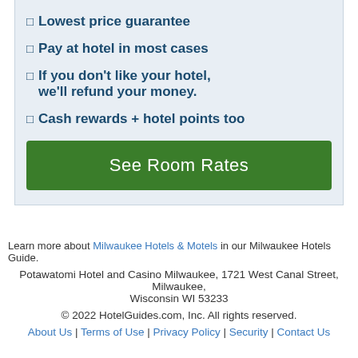✓ Lowest price guarantee
✓ Pay at hotel in most cases
✓ If you don't like your hotel, we'll refund your money.
✓ Cash rewards + hotel points too
See Room Rates
Learn more about Milwaukee Hotels & Motels in our Milwaukee Hotels Guide.
Potawatomi Hotel and Casino Milwaukee, 1721 West Canal Street, Milwaukee, Wisconsin WI 53233
© 2022 HotelGuides.com, Inc. All rights reserved.
About Us | Terms of Use | Privacy Policy | Security | Contact Us